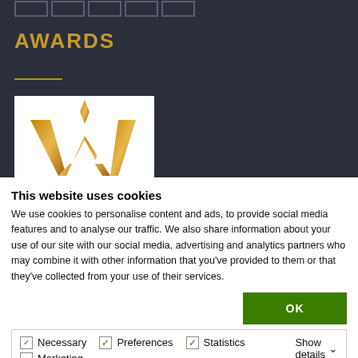AWARDS
[Figure (logo): Award finalist logo: stylized gold W with star, text 'Finalist' and 'SOUTH WEST' below]
This website uses cookies
We use cookies to personalise content and ads, to provide social media features and to analyse our traffic. We also share information about your use of our site with our social media, advertising and analytics partners who may combine it with other information that you've provided to them or that they've collected from your use of their services.
OK
Necessary  Preferences  Statistics  Marketing  Show details